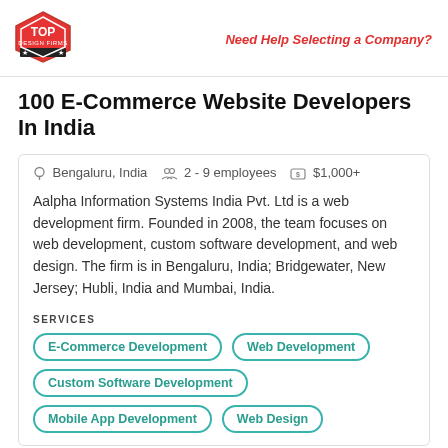Top Design Firms | Need Help Selecting a Company?
100 E-Commerce Website Developers In India
Bengaluru, India  2 - 9 employees  $1,000+
Aalpha Information Systems India Pvt. Ltd is a web development firm. Founded in 2008, the team focuses on web development, custom software development, and web design. The firm is in Bengaluru, India; Bridgewater, New Jersey; Hubli, India and Mumbai, India.
SERVICES
E-Commerce Development
Web Development
Custom Software Development
Mobile App Development
Web Design